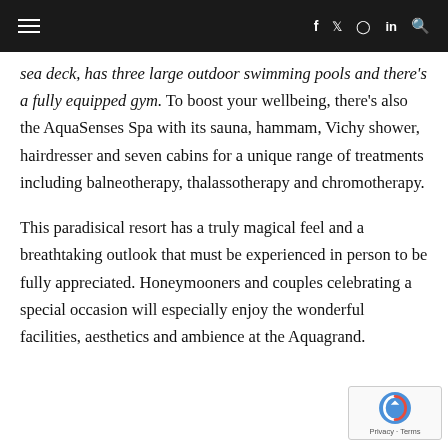≡  f  twitter  instagram  in  search
sea deck, has three large outdoor swimming pools and there's a fully equipped gym. To boost your wellbeing, there's also the AquaSenses Spa with its sauna, hammam, Vichy shower, hairdresser and seven cabins for a unique range of treatments including balneotherapy, thalassotherapy and chromotherapy.
This paradisical resort has a truly magical feel and a breathtaking outlook that must be experienced in person to be fully appreciated. Honeymooners and couples celebrating a special occasion will especially enjoy the wonderful facilities, aesthetics and ambience at the Aquagrand.